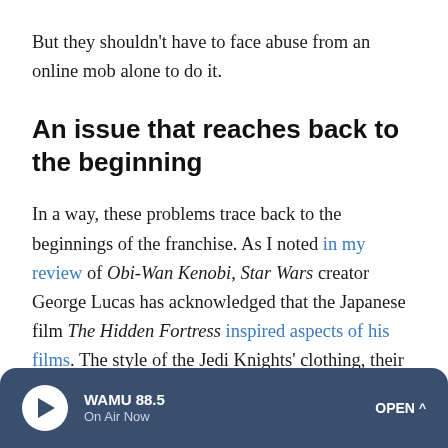But they shouldn't have to face abuse from an online mob alone to do it.
An issue that reaches back to the beginning
In a way, these problems trace back to the beginnings of the franchise. As I noted in my review of Obi-Wan Kenobi, Star Wars creator George Lucas has acknowledged that the Japanese film The Hidden Fortress inspired aspects of his films. The style of the Jedi Knights' clothing, their fighting style and mysticism all seem lifted from that ethos — an unfortunate example of Hollywood's tendency to appropriate
WAMU 88.5 | On Air Now | OPEN